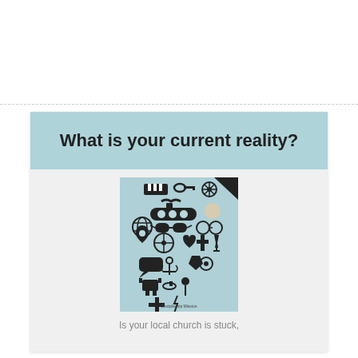What is your current reality?
[Figure (illustration): A collage of various flat-design icons on a light blue background including musical notes, keys, ship wheel, submarine, glasses, sunglasses, compass, cross, anchor, speech bubble, wine glass, map pin, and other miscellaneous icons arranged in a vertical poster layout with text 'Discipleship Mission' at the bottom.]
Is your local church is stuck,